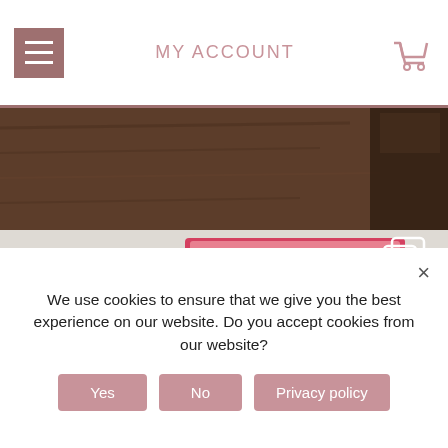MY ACCOUNT
[Figure (photo): Top hero image: wooden table with bracelet and dark background on right]
[Figure (photo): Main hero image: craft scene with scissors, glue stick, crayons, and a cardboard character with googly eyes on a white wood surface. Copy icon in top right.]
We use cookies to ensure that we give you the best experience on our website. Do you accept cookies from our website?
Yes
No
Privacy policy